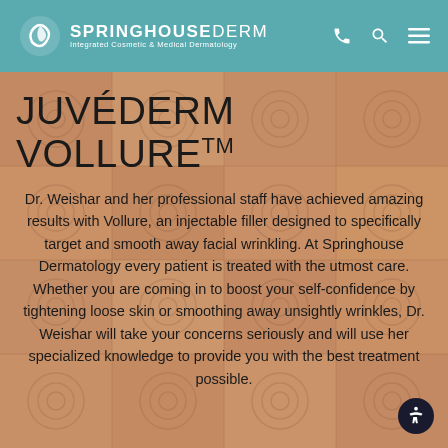SPRINGHOUSE DERM — Integrated Cosmetic & Medical Dermatology
JUVÉDERM VOLLURE™
Dr. Weishar and her professional staff have achieved amazing results with Vollure, an injectable filler designed to specifically target and smooth away facial wrinkling. At Springhouse Dermatology every patient is treated with the utmost care. Whether you are coming in to boost your self-confidence by tightening loose skin or smoothing away unsightly wrinkles, Dr. Weishar will take your concerns seriously and will use her specialized knowledge to provide you with the best treatment possible.